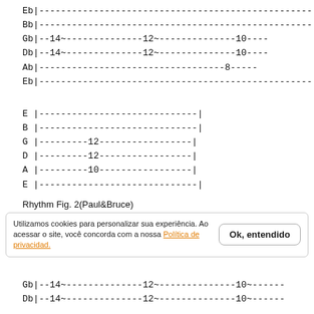Eb|--------------------------------------------------
Bb|--------------------------------------------------
Gb|--14~--------------12~--------------10----
Db|--14~--------------12~--------------10----
Ab|----------------------------------8-----
Eb|--------------------------------------------------
E|--------------------------|
B|--------------------------|
G|---------12---------------|
D|---------12---------------|
A|---------10---------------|
E|--------------------------|
Rhythm Fig. 2(Paul&Bruce)
Utilizamos cookies para personalizar sua experiência. Ao acessar o site, você concorda com a nossa Política de privacidad.
Gb|--14~--------------12~--------------10~------
Db|--14~--------------12~--------------10~------